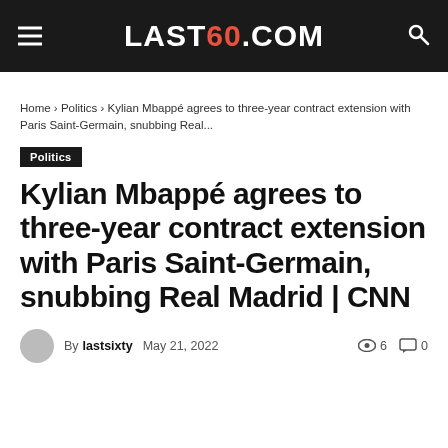LAST60.COM
Home › Politics › Kylian Mbappé agrees to three-year contract extension with Paris Saint-Germain, snubbing Real...
Politics
Kylian Mbappé agrees to three-year contract extension with Paris Saint-Germain, snubbing Real Madrid | CNN
By lastsixty  May 21, 2022  👁 6  💬 0